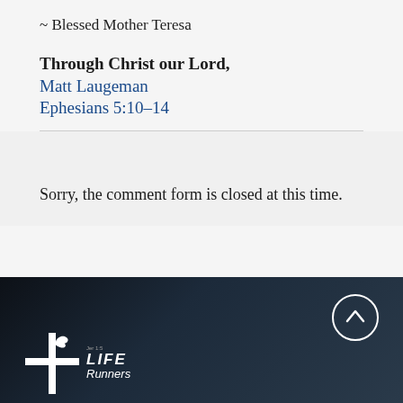~ Blessed Mother Teresa
Through Christ our Lord,
Matt Laugeman
Ephesians 5:10-14
Sorry, the comment form is closed at this time.
[Figure (logo): Life Runners logo with cross and dove, white text on dark background, with scroll-up button circle]